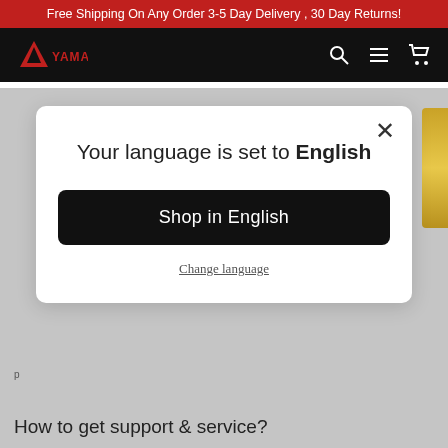Free Shipping On Any Order 3-5 Day Delivery , 30 Day Returns!
[Figure (logo): Yamatic brand logo with red triangle/tent icon and YAMATIC text in red on black navigation bar]
Your language is set to English
Shop in English
Change language
How to get support & service?